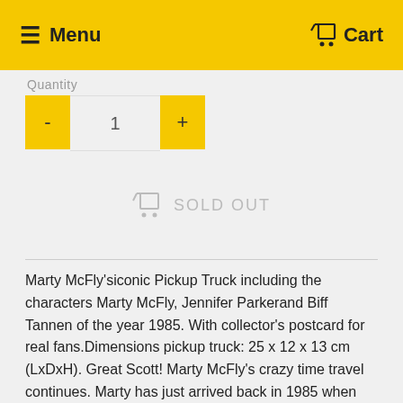Menu   Cart
Quantity
- 1 +
SOLD OUT
Marty McFly'siconic Pickup Truck including the characters Marty McFly, Jennifer Parkerand Biff Tannen of the year 1985. With collector's postcard for real fans.Dimensions pickup truck: 25 x 12 x 13 cm (LxDxH). Great Scott! Marty McFly's crazy time travel continues. Marty has just arrived back in 1985 when the next time jump - to the year 2015 - is on the horizon. Based on the second film from the cult-classic trilogy, Doc and Marty must prevent Marty's son from sabotaging the McFly family's future. In 1985, Marty takes a seat in his brand new Pick-up Truck with his